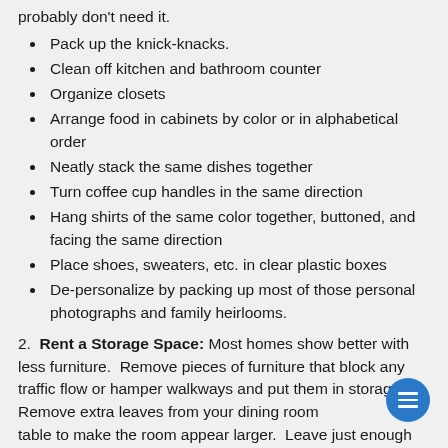probably don't need it.
Pack up the knick-knacks.
Clean off kitchen and bathroom counter
Organize closets
Arrange food in cabinets by color or in alphabetical order
Neatly stack the same dishes together
Turn coffee cup handles in the same direction
Hang shirts of the same color together, buttoned, and facing the same direction
Place shoes, sweaters, etc. in clear plastic boxes
De-personalize by packing up most of those personal photographs and family heirlooms.
2. Rent a Storage Space: Most homes show better with less furniture. Remove pieces of furniture that block any traffic flow or hamper walkways and put them in storage. Remove extra leaves from your dining room table to make the room appear larger. Leave just enough